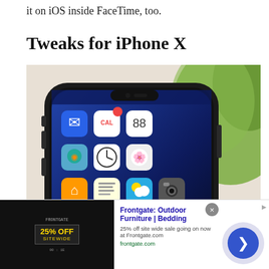it on iOS inside FaceTime, too.
Tweaks for iPhone X
[Figure (photo): Close-up photo of an iPhone X showing the home screen with app icons including Maps, Calendar, Clock, Photos, Notes, Weather, Camera, Home, Store, Stocks, and others. A blurred green plant is visible in the background.]
[Figure (infographic): Advertisement banner for Frontgate: Outdoor Furniture | Bedding. Shows '25% OFF SITEWIDE' promotional image on the left, ad title and description in the center, and a circular CTA arrow button on the right.]